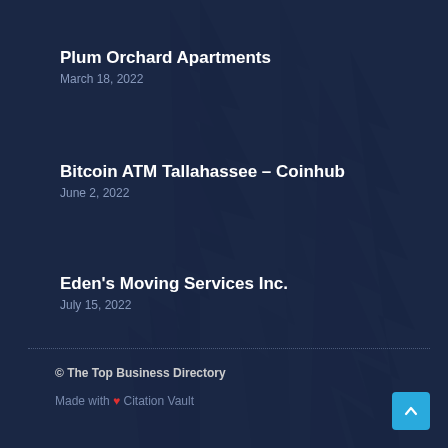Plum Orchard Apartments
March 18, 2022
Bitcoin ATM Tallahassee – Coinhub
June 2, 2022
Eden's Moving Services Inc.
July 15, 2022
© The Top Business Directory
Made with ❤ Citation Vault